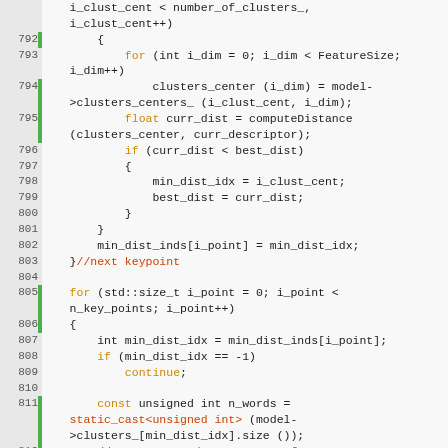Source code listing, lines 792-815, C++ computer vision code showing cluster distance computation and coordinate transform logic.